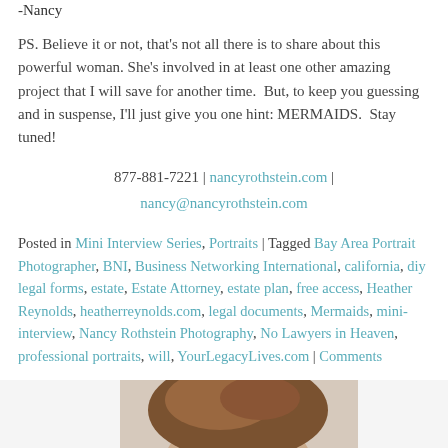-Nancy
PS. Believe it or not, that's not all there is to share about this powerful woman. She's involved in at least one other amazing project that I will save for another time.  But, to keep you guessing and in suspense, I'll just give you one hint: MERMAIDS.  Stay tuned!
877-881-7221 | nancyrothstein.com | nancy@nancyrothstein.com
Posted in Mini Interview Series, Portraits | Tagged Bay Area Portrait Photographer, BNI, Business Networking International, california, diy legal forms, estate, Estate Attorney, estate plan, free access, Heather Reynolds, heatherreynolds.com, legal documents, Mermaids, mini-interview, Nancy Rothstein Photography, No Lawyers in Heaven, professional portraits, will, YourLegacyLives.com | Comments
[Figure (photo): Partial photo of a person's head/hair visible at the bottom of the page]